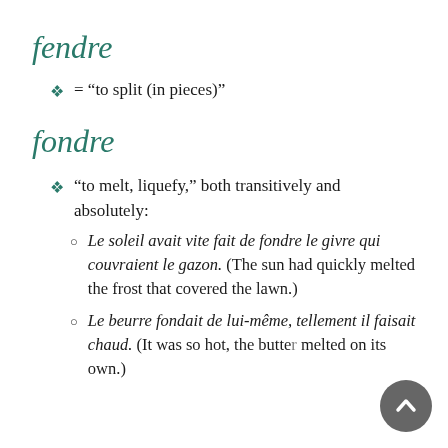fendre
= “to split (in pieces)”
fondre
“to melt, liquefy,” both transitively and absolutely:
Le soleil avait vite fait de fondre le givre qui couvraient le gazon. (The sun had quickly melted the frost that covered the lawn.)
Le beurre fondait de lui-même, tellement il faisait chaud. (It was so hot, the butter melted on its own.)